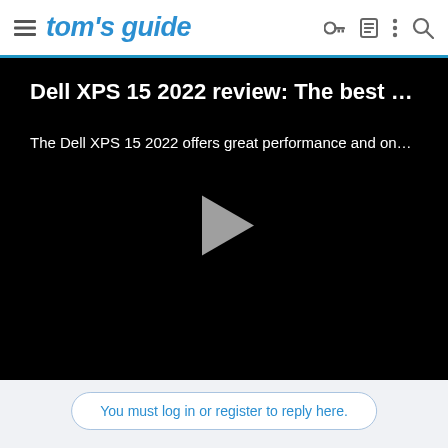tom's guide
[Figure (screenshot): Video player embed with black background showing title 'Dell XPS 15 2022 review: The best ...' and subtitle 'The Dell XPS 15 2022 offers great performance and on...' with a gray play button triangle in the center]
You must log in or register to reply here.